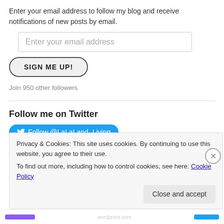Enter your email address to follow my blog and receive notifications of new posts by email.
[Figure (screenshot): Email input field with placeholder text 'Enter your email address']
[Figure (screenshot): Button labeled 'SIGN ME UP!' with rounded pill border]
Join 950 other followers
Follow me on Twitter
[Figure (screenshot): Blue Twitter follow button with bird icon: 'Follow @LaLaLand_Living']
Privacy & Cookies: This site uses cookies. By continuing to use this website, you agree to their use. To find out more, including how to control cookies, see here: Cookie Policy
Close and accept